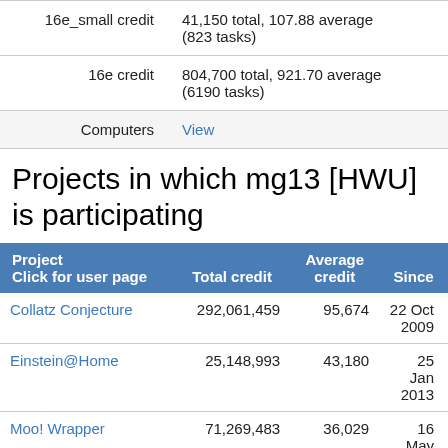|  |  |
| --- | --- |
| 16e_small credit | 41,150 total, 107.88 average (823 tasks) |
| 16e credit | 804,700 total, 921.70 average (6190 tasks) |
| Computers | View |
Projects in which mg13 [HWU] is participating
| Project
Click for user page | Total credit | Average credit | Since |
| --- | --- | --- | --- |
| Collatz Conjecture | 292,061,459 | 95,674 | 22 Oct 2009 |
| Einstein@Home | 25,148,993 | 43,180 | 25 Jan 2013 |
| Moo! Wrapper | 71,269,483 | 36,029 | 16 May |